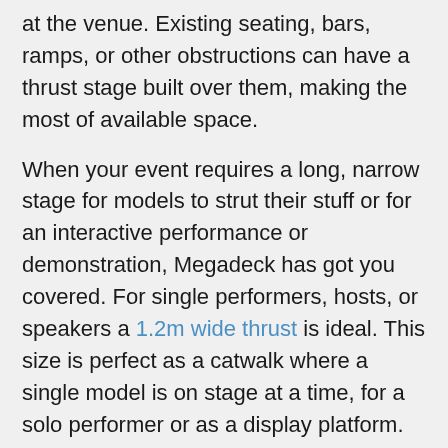at the venue. Existing seating, bars, ramps, or other obstructions can have a thrust stage built over them, making the most of available space.
When your event requires a long, narrow stage for models to strut their stuff or for an interactive performance or demonstration, Megadeck has got you covered. For single performers, hosts, or speakers a 1.2m wide thrust is ideal. This size is perfect as a catwalk where a single model is on stage at a time, for a solo performer or as a display platform. When multiple people will be on the stage in a live play, dance show or fashion parade, a 2.4m or wider platform is the perfect solution.